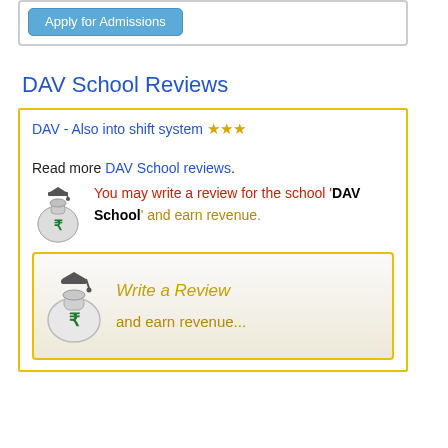[Figure (other): Apply for Admissions button in a bordered box]
DAV School Reviews
DAV - Also into shift system ★★★
Read more DAV School reviews.
You may write a review for the school 'DAV School' and earn revenue.
[Figure (other): Write a Review and earn revenue... banner with money bag icon]